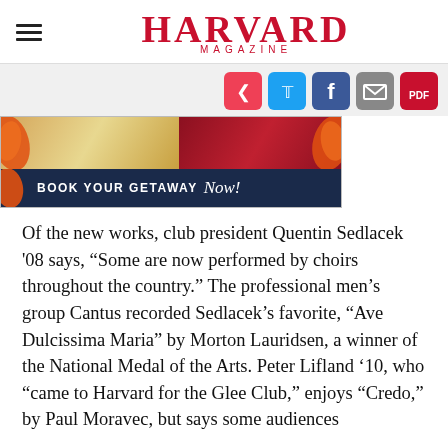HARVARD MAGAZINE
[Figure (screenshot): Social sharing icons: Pocket (red), Twitter (blue), Facebook (blue), Email (grey), PDF (red)]
[Figure (photo): Advertisement banner reading BOOK YOUR GETAWAY Now! with images of food and football players, autumn leaf decorations on dark navy background]
Of the new works, club president Quentin Sedlacek '08 says, “Some are now performed by choirs throughout the country.” The professional men’s group Cantus recorded Sedlacek’s favorite, “Ave Dulcissima Maria” by Morton Lauridsen, a winner of the National Medal of the Arts. Peter Lifland ’10, who “came to Harvard for the Glee Club,” enjoys “Credo,” by Paul Moravec, but says some audiences